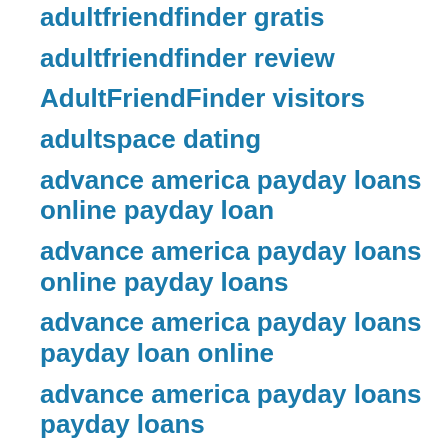adultfriendfinder gratis
adultfriendfinder review
AdultFriendFinder visitors
adultspace dating
advance america payday loans online payday loan
advance america payday loans online payday loans
advance america payday loans payday loan online
advance america payday loans payday loans
advance america title loans